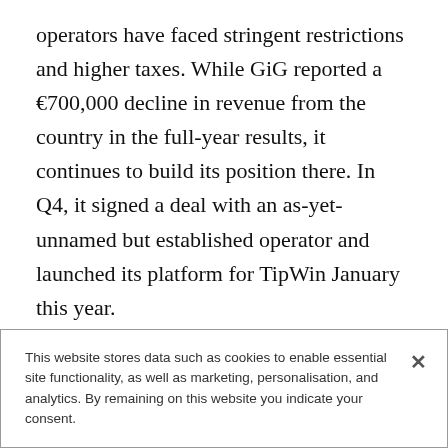operators have faced stringent restrictions and higher taxes. While GiG reported a €700,000 decline in revenue from the country in the full-year results, it continues to build its position there. In Q4, it signed a deal with an as-yet-unnamed but established operator and launched its platform for TipWin January this year.
As to when it will generate returns, Brown admits this will take time.
“We believe that market, irrespective of the
This website stores data such as cookies to enable essential site functionality, as well as marketing, personalisation, and analytics. By remaining on this website you indicate your consent.